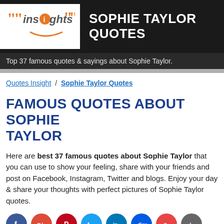[Figure (logo): Insights quotes logo with orange quotation marks and circular 'i' letter]
SOPHIE TAYLOR QUOTES
Top 37 famous quotes & sayings about Sophie Taylor.
Quotes Insight / Sophie Taylor Quotes
FAMOUS QUOTES ABOUT SOPHIE TAYLOR
Here are best 37 famous quotes about Sophie Taylor that you can use to show your feeling, share with your friends and post on Facebook, Instagram, Twitter and blogs. Enjoy your day & share your thoughts with perfect pictures of Sophie Taylor quotes.
[Figure (infographic): Row of social media icon circles: Facebook (blue), Google+ (red), Pinterest (red), Twitter (teal), LinkedIn (blue), Digg (gray-blue), and others partially visible]